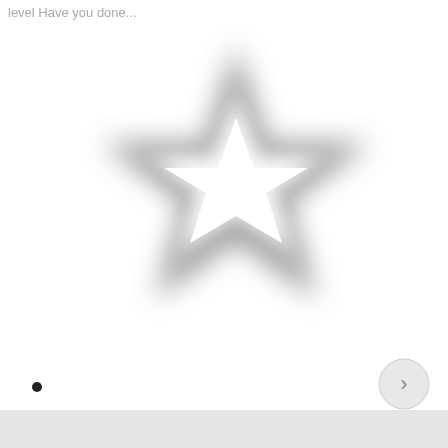level Have you done...
[Figure (illustration): A blurred grayscale star cookie cutter shape on a white background. The star shape is rendered with soft Gaussian blur, showing a dark outline and white/light interior center.]
[Figure (other): A circular navigation button with a right-pointing chevron (>) on a light gray circle, positioned at the bottom right of the page.]